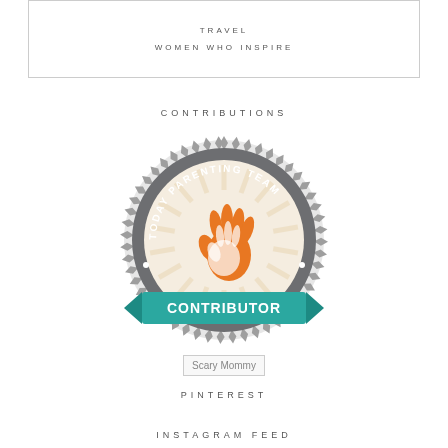TRAVEL
WOMEN WHO INSPIRE
CONTRIBUTIONS
[Figure (logo): Today Parenting Team Contributor badge — circular grey seal with sun-ray pattern, orange hand print logo in center, teal ribbon banner across bottom reading CONTRIBUTOR in white text]
[Figure (logo): Scary Mommy image/logo placeholder]
PINTEREST
INSTAGRAM FEED